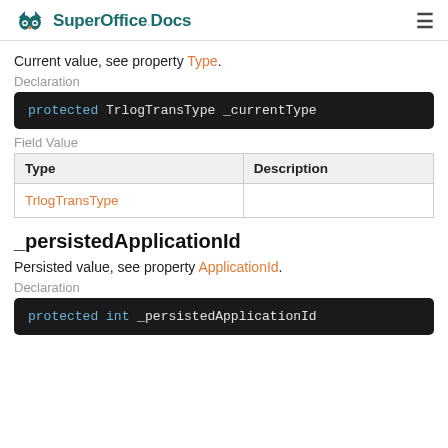SuperOffice.Docs
Current value, see property Type.
Declaration
protected TrlogTransType _currentType
Field Value
| Type | Description |
| --- | --- |
| TrlogTransType |  |
_persistedApplicationId
Persisted value, see property ApplicationId.
Declaration
protected int _persistedApplicationId